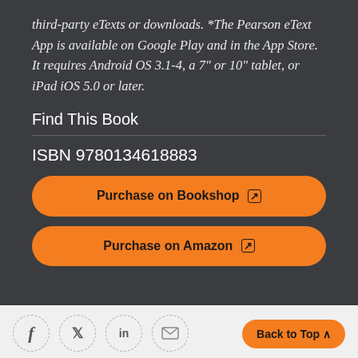third-party eTexts or downloads. *The Pearson eText App is available on Google Play and in the App Store. It requires Android OS 3.1-4, a 7" or 10" tablet, or iPad iOS 5.0 or later.
Find This Book
ISBN 9780134618883
Purchase on Bookshop
Purchase on Amazon
Back to Top ^